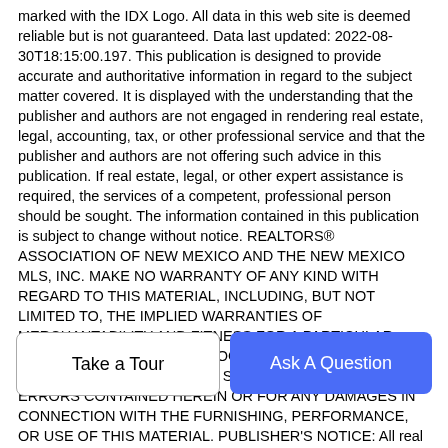marked with the IDX Logo. All data in this web site is deemed reliable but is not guaranteed. Data last updated: 2022-08-30T18:15:00.197. This publication is designed to provide accurate and authoritative information in regard to the subject matter covered. It is displayed with the understanding that the publisher and authors are not engaged in rendering real estate, legal, accounting, tax, or other professional service and that the publisher and authors are not offering such advice in this publication. If real estate, legal, or other expert assistance is required, the services of a competent, professional person should be sought. The information contained in this publication is subject to change without notice. REALTORS® ASSOCIATION OF NEW MEXICO AND THE NEW MEXICO MLS, INC. MAKE NO WARRANTY OF ANY KIND WITH REGARD TO THIS MATERIAL, INCLUDING, BUT NOT LIMITED TO, THE IMPLIED WARRANTIES OF MERCHANTABILITY AND FITNESS FOR A PARTICULAR PURPOSE. REALTORS® ASSOCIATION OF NEW MEXICO AND NEW MEXICO MLS, INC. SHALL NOT BE LIABLE FOR ERRORS CONTAINED HEREIN OR FOR ANY DAMAGES IN CONNECTION WITH THE FURNISHING, PERFORMANCE, OR USE OF THIS MATERIAL. PUBLISHER'S NOTICE: All real estate advertised herein is subject to the Federal Fair Housing Act and the New Mexico Fair Housing Act which Acts make it illegal to
Take a Tour
Ask A Question